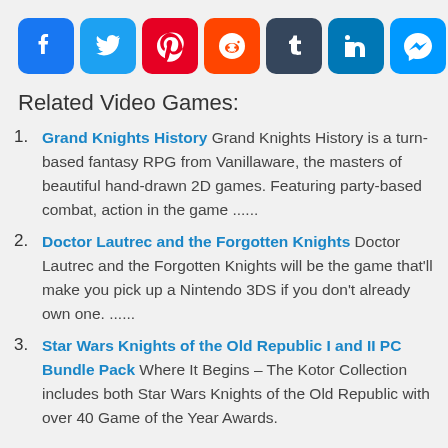[Figure (infographic): Social media share buttons: Facebook, Twitter, Pinterest, Reddit, Tumblr, LinkedIn, Messenger, Amazon, and a plus/more button]
Related Video Games:
Grand Knights History Grand Knights History is a turn-based fantasy RPG from Vanillaware, the masters of beautiful hand-drawn 2D games. Featuring party-based combat, action in the game .......
Doctor Lautrec and the Forgotten Knights Doctor Lautrec and the Forgotten Knights will be the game that'll make you pick up a Nintendo 3DS if you don't already own one. .......
Star Wars Knights of the Old Republic I and II PC Bundle Pack Where It Begins – The Kotor Collection includes both Star Wars Knights of the Old Republic with over 40 Game of the Year Awards.